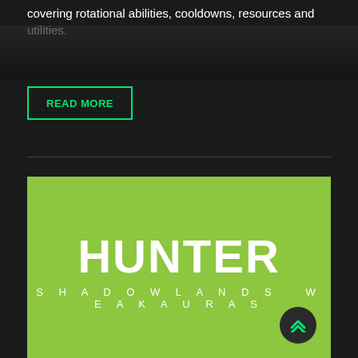covering rotational abilities, cooldowns, resources and utilities.
READ MORE
[Figure (illustration): Green card image for Hunter Shadowlands WeakAuras with bold white text HUNTER and subtitle SHADOWLANDS WEAKAURAS on a lime green background]
HUNTER
SHADOWLANDS WEAKAURAS